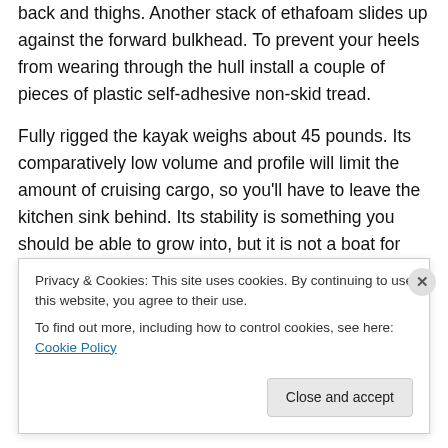back and thighs. Another stack of ethafoam slides up against the forward bulkhead. To prevent your heels from wearing through the hull install a couple of pieces of plastic self-adhesive non-skid tread.
Fully rigged the kayak weighs about 45 pounds. Its comparatively low volume and profile will limit the amount of cruising cargo, so you'll have to leave the kitchen sink behind. Its stability is something you should be able to grow into, but it is not a boat for lounging about. On afternoon workout paddles I can keep my speed comfortably at around 4.7 knots. Its low profile makes it a
Privacy & Cookies: This site uses cookies. By continuing to use this website, you agree to their use.
To find out more, including how to control cookies, see here: Cookie Policy